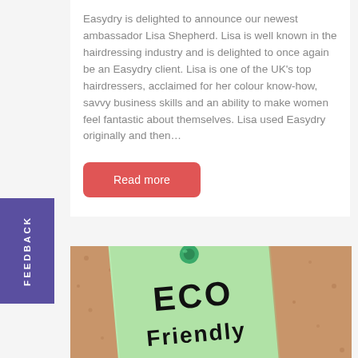Easydry is delighted to announce our newest ambassador Lisa Shepherd. Lisa is well known in the hairdressing industry and is delighted to once again be an Easydry client. Lisa is one of the UK's top hairdressers, acclaimed for her colour know-how, savvy business skills and an ability to make women feel fantastic about themselves. Lisa used Easydry originally and then…
Read more
[Figure (photo): A green sticky note pinned to a cork board with a green thumbtack. The note reads 'ECO Friendly' in bold block letters.]